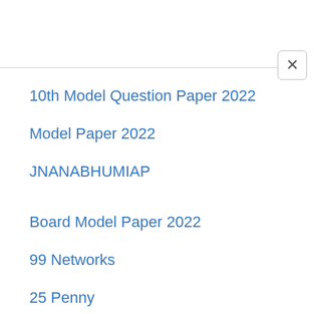10th Model Question Paper 2022
Model Paper 2022
JNANABHUMIAP
Board Model Paper 2022
99 Networks
25 Penny
BSNL TeleServices
99 Employee